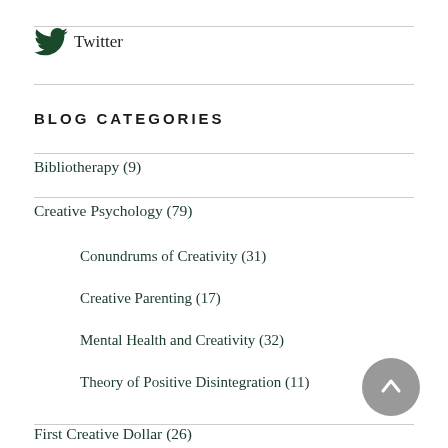[Figure (logo): Twitter bird logo icon in dark green]
Twitter
BLOG CATEGORIES
Bibliotherapy (9)
Creative Psychology (79)
Conundrums of Creativity (31)
Creative Parenting (17)
Mental Health and Creativity (32)
Theory of Positive Disintegration (11)
First Creative Dollar (26)
History (14)